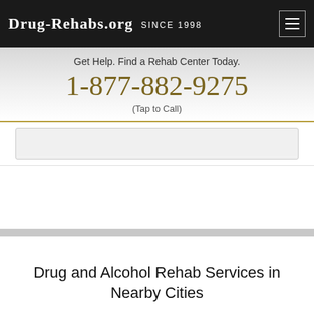Drug-Rehabs.org Since 1998
Get Help. Find a Rehab Center Today.
1-877-882-9275
(Tap to Call)
Drug and Alcohol Rehab Services in Nearby Cities
Liberal, KS
Ulysses, KS